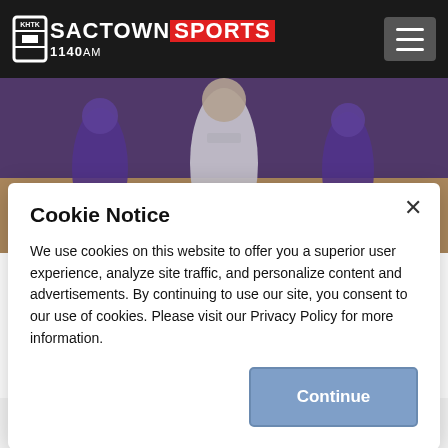[Figure (logo): Sactown Sports 1140AM radio station logo with white and red branding on black header]
[Figure (photo): Basketball game photo showing NBA players including one in a white jersey surrounded by players in purple jerseys with crowd in background]
Cookie Notice
We use cookies on this website to offer you a superior user experience, analyze site traffic, and personalize content and advertisements. By continuing to use our site, you consent to our use of cookies. Please visit our Privacy Policy for more information.
Continue
Christie Show, the guys had the opportunity